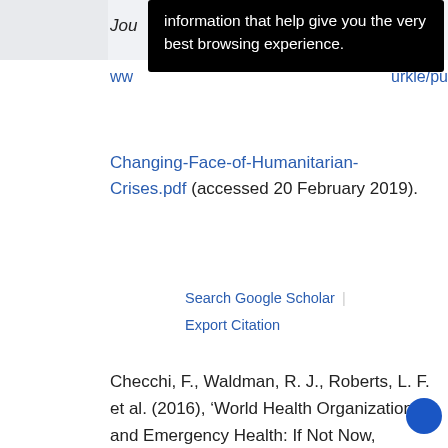Jou
information that help give you the very best browsing experience.
ww... urkle/pu
Changing-Face-of-Humanitarian-Crises.pdf (accessed 20 February 2019).
Search Google Scholar | Export Citation
Checchi, F., Waldman, R. J., Roberts, L. F. et al. (2016), ‘World Health Organization and Emergency Health: If Not Now, When?’, BMJ, 352, i469, doi: 10.1136/bmj.i469.
Search Google Scholar | Export Citation
Chesbrough, H. W. (2006), Open